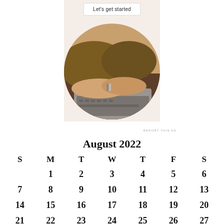[Figure (screenshot): Advertisement area with a 'Let's get started' button on a cream/peach background, featuring a circular photo of a person typing on a laptop wearing a mustard/brown sweater]
REPORT THIS AD
August 2022
| S | M | T | W | T | F | S |
| --- | --- | --- | --- | --- | --- | --- |
|  | 1 | 2 | 3 | 4 | 5 | 6 |
| 7 | 8 | 9 | 10 | 11 | 12 | 13 |
| 14 | 15 | 16 | 17 | 18 | 19 | 20 |
| 21 | 22 | 23 | 24 | 25 | 26 | 27 |